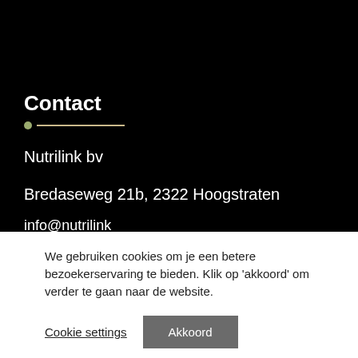Contact
Nutrilink bv
Bredaseweg 21b, 2322 Hoogstraten
info@nutrilink
We gebruiken cookies om je een betere bezoekerservaring te bieden. Klik op 'akkoord' om verder te gaan naar de website.
Cookie settings
Akkoord